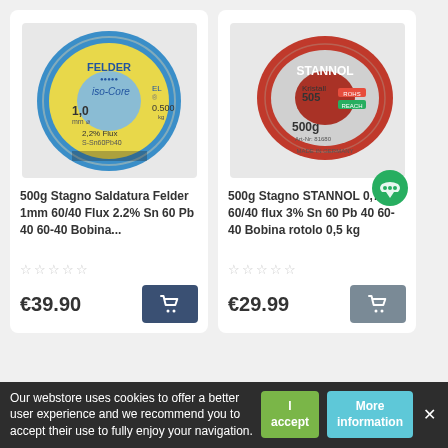[Figure (photo): Spool of Felder iso-Core EL solder wire, 500g, 1mm diameter, 60/40 Sn/Pb, 2.2% flux, blue rim]
500g Stagno Saldatura Felder 1mm 60/40 Flux 2.2% Sn 60 Pb 40 60-40 Bobina...
☆☆☆☆☆
€39.90
[Figure (photo): Spool of Stannol Kristall 505 solder wire, 500g, 0.7mm, 60/40 flux 3%, red spool]
500g Stagno STANNOL 0,7mm 60/40 flux 3% Sn 60 Pb 40 60-40 Bobina rotolo 0,5 kg
☆☆☆☆☆
€29.99
Our webstore uses cookies to offer a better user experience and we recommend you to accept their use to fully enjoy your navigation.